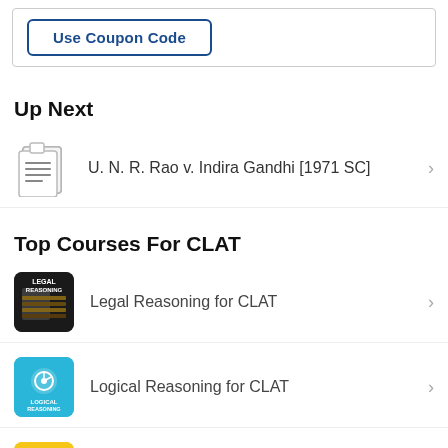Use Coupon Code
Up Next
U. N. R. Rao v. Indira Gandhi [1971 SC]
Top Courses For CLAT
Legal Reasoning for CLAT
Logical Reasoning for CLAT
English for CLAT